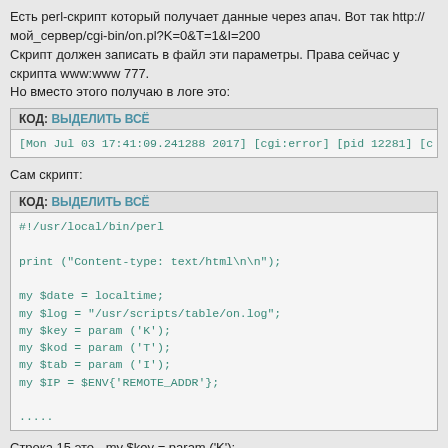Есть perl-скрипт который получает данные через апач. Вот так http://мой_сервер/cgi-bin/on.pl?K=0&T=1&I=200
Скрипт должен записать в файл эти параметры. Права сейчас у скрипта www:www 777.
Но вместо этого получаю в логе это:
КОД: ВЫДЕЛИТЬ ВСЁ
[Mon Jul 03 17:41:09.241288 2017] [cgi:error] [pid 12281] [c
Сам скрипт:
КОД: ВЫДЕЛИТЬ ВСЁ
#!/usr/local/bin/perl

print ("Content-type: text/html\n\n");

my $date = localtime;
my $log = "/usr/scripts/table/on.log";
my $key = param ('K');
my $kod = param ('T');
my $tab = param ('I');
my $IP = $ENV{'REMOTE_ADDR'};

.....
Строка 15 это - my $key = param ('K');